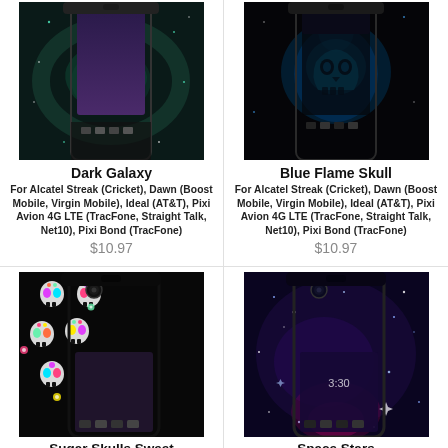[Figure (photo): Phone case product photo - Dark Galaxy design for Alcatel Streak]
Dark Galaxy
For Alcatel Streak (Cricket), Dawn (Boost Mobile, Virgin Mobile), Ideal (AT&T), Pixi Avion 4G LTE (TracFone, Straight Talk, Net10), Pixi Bond (TracFone)
$10.97
[Figure (photo): Phone case product photo - Blue Flame Skull design for Alcatel Streak]
Blue Flame Skull
For Alcatel Streak (Cricket), Dawn (Boost Mobile, Virgin Mobile), Ideal (AT&T), Pixi Avion 4G LTE (TracFone, Straight Talk, Net10), Pixi Bond (TracFone)
$10.97
[Figure (photo): Phone case product photo - Sugar Skulls Sweet design for Alcatel Streak]
Sugar Skulls Sweet
For Alcatel Streak (Cricket),
[Figure (photo): Phone case product photo - Space Stars design for Alcatel Streak]
Space Stars
For Alcatel Streak (Cricket),